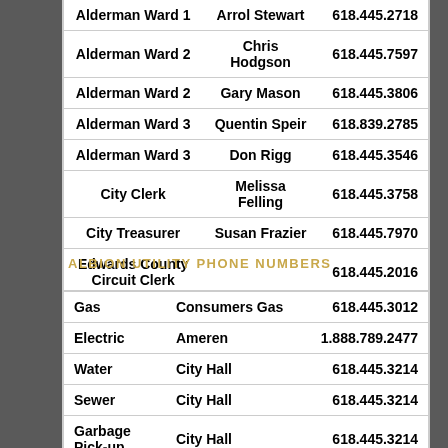| Position | Name | Phone |
| --- | --- | --- |
| Alderman Ward 1 | Arrol Stewart | 618.445.2718 |
| Alderman Ward 2 | Chris Hodgson | 618.445.7597 |
| Alderman Ward 2 | Gary Mason | 618.445.3806 |
| Alderman Ward 3 | Quentin Speir | 618.839.2785 |
| Alderman Ward 3 | Don Rigg | 618.445.3546 |
| City Clerk | Melissa Felling | 618.445.3758 |
| City Treasurer | Susan Frazier | 618.445.7970 |
| Edwards County Circuit Clerk |  | 618.445.2016 |
| Edwards County Clerk |  | 618.445.2115 |
ALBION UTILITY PHONE NUMBERS
| Type | Provider | Phone |
| --- | --- | --- |
| Gas | Consumers Gas | 618.445.3012 |
| Electric | Ameren | 1.888.789.2477 |
| Water | City Hall | 618.445.3214 |
| Sewer | City Hall | 618.445.3214 |
| Garbage Pick-up | City Hall | 618.445.3214 |